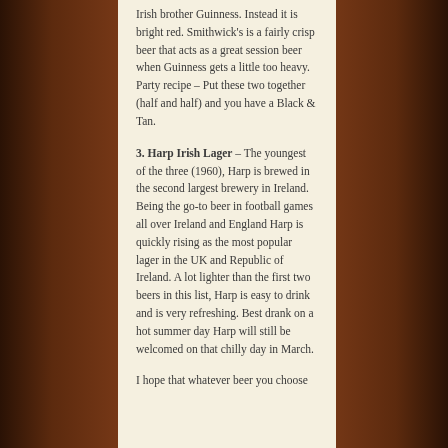Irish brother Guinness. Instead it is bright red. Smithwick's is a fairly crisp beer that acts as a great session beer when Guinness gets a little too heavy. Party recipe – Put these two together (half and half) and you have a Black & Tan.
3. Harp Irish Lager – The youngest of the three (1960), Harp is brewed in the second largest brewery in Ireland. Being the go-to beer in football games all over Ireland and England Harp is quickly rising as the most popular lager in the UK and Republic of Ireland. A lot lighter than the first two beers in this list, Harp is easy to drink and is very refreshing. Best drank on a hot summer day Harp will still be welcomed on that chilly day in March.
I hope that whatever beer you choose